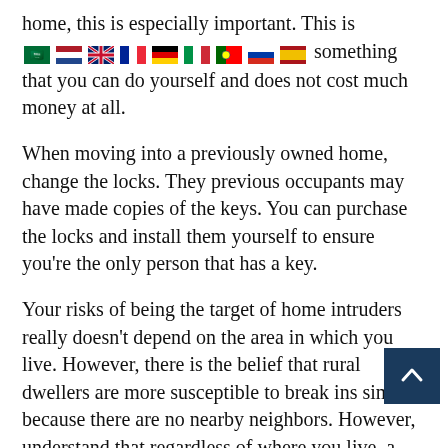home, this is especially important. This is something that you can do yourself and does not cost much money at all.
When moving into a previously owned home, change the locks. They previous occupants may have made copies of the keys. You can purchase the locks and install them yourself to ensure you’re the only person that has a key.
Your risks of being the target of home intruders really doesn’t depend on the area in which you live. However, there is the belief that rural dwellers are more susceptible to break ins simply because there are no nearby neighbors. However, understand that regardless of where you live, a theft can occur anywhere. Therefore, you need to be prepared
If you wish to boost your home’s security, one cheap